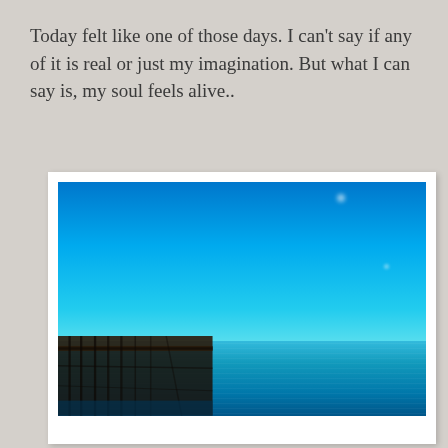Today felt like one of those days. I can't say if any of it is real or just my imagination. But what I can say is, my soul feels alive..
[Figure (photo): Outdoor photograph of a calm blue ocean under a vivid blue sky, with an old wooden pier/dock structure visible in the lower left. The image has a high-contrast, slightly saturated Instagram-style filter applied. The photo is presented with a white border resembling a polaroid or printed photo, placed on a grey background.]